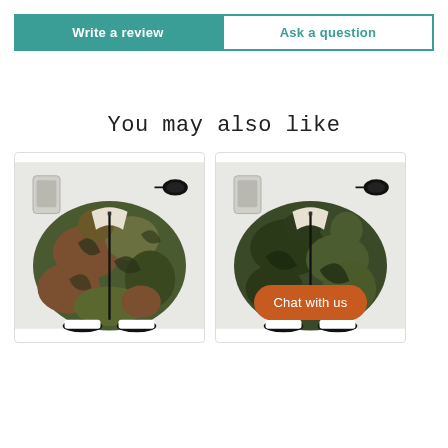Write a review
Ask a question
You may also like
[Figure (photo): Camouflage bomber jacket (tiger stripe pattern) laid flat on a marble surface with sunglasses and a phone]
[Figure (photo): Camouflage bomber jacket (woodland pattern) laid flat on a marble surface with sunglasses and a phone, with 'Chat with us' button overlay]